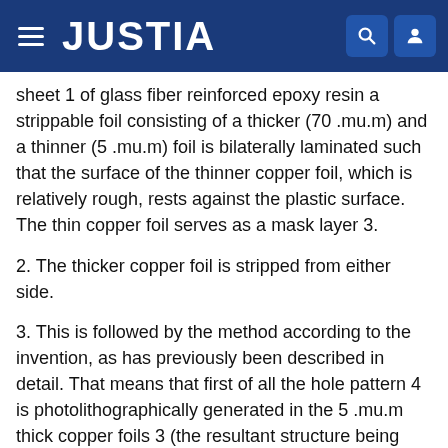JUSTIA
sheet 1 of glass fiber reinforced epoxy resin a strippable foil consisting of a thicker (70 .mu.m) and a thinner (5 .mu.m) foil is bilaterally laminated such that the surface of the thinner copper foil, which is relatively rough, rests against the plastic surface. The thin copper foil serves as a mask layer 3.
2. The thicker copper foil is stripped from either side.
3. This is followed by the method according to the invention, as has previously been described in detail. That means that first of all the hole pattern 4 is photolithographically generated in the 5 .mu.m thick copper foils 3 (the resultant structure being shown in the schematic cross-sectional view of FIG. 1) and that the viaholes 5 are subsequently plasma-etched, using the copper foils 3 as etch masks. The resultant structure is shown in FIG. 2A.